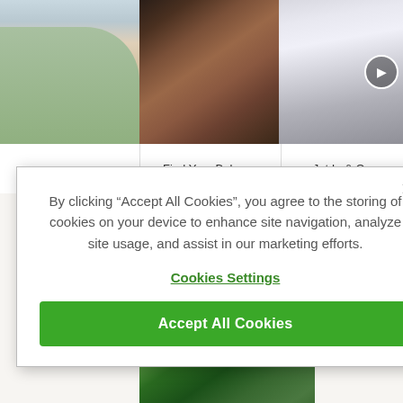[Figure (screenshot): Website screenshot showing a travel/lifestyle website with three photo panels (family, massage, private jet), category labels 'Find Your Balance' and 'Jet In & Ou...', a 'Bucket List' section with 'Country Golf' subtitle and 'See all >' link, and a golf course aerial photo in the lower right. A cookie consent modal overlays the left portion.]
Find Your Balance
Jet In & Ou
f Bucket List
Country Golf
See all >
By clicking “Accept All Cookies”, you agree to the storing of cookies on your device to enhance site navigation, analyze site usage, and assist in our marketing efforts.
Cookies Settings
Accept All Cookies